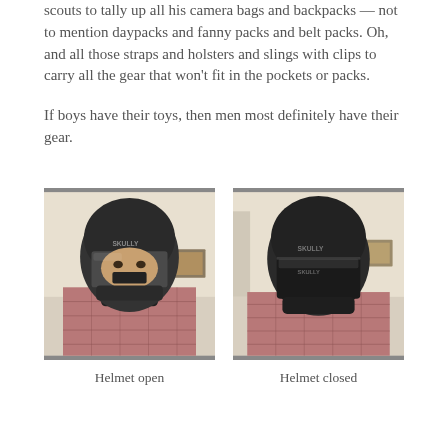scouts to tally up all his camera bags and backpacks — not to mention daypacks and fanny packs and belt packs. Oh, and all those straps and holsters and slings with clips to carry all the gear that won't fit in the pockets or packs.
If boys have their toys, then men most definitely have their gear.
[Figure (photo): Person wearing a Skully motorcycle helmet with visor open, showing their face partially; wearing a plaid shirt]
Helmet open
[Figure (photo): Person wearing a Skully motorcycle helmet with visor closed, face completely hidden; wearing a plaid shirt]
Helmet closed